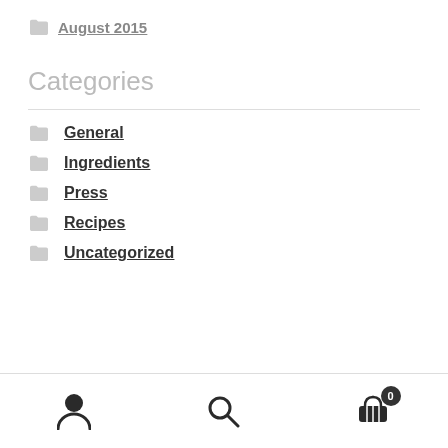August 2015
Categories
General
Ingredients
Press
Recipes
Uncategorized
user icon | search icon | cart 0